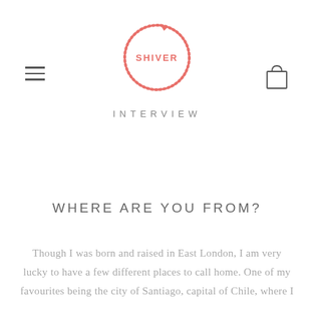[Figure (logo): Shiver logo: circular snake/ouroboros in red/pink dotted style with the word SHIVER in the center in red capitals]
INTERVIEW
WHERE ARE YOU FROM?
Though I was born and raised in East London, I am very lucky to have a few different places to call home. One of my favourites being the city of Santiago, capital of Chile, where I